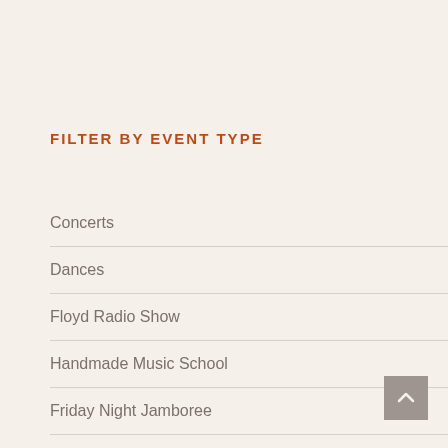FILTER BY EVENT TYPE
Concerts
Dances
Floyd Radio Show
Handmade Music School
Friday Night Jamboree
Americana Afternoon